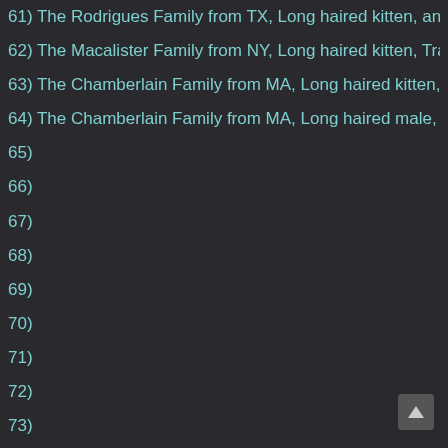61) The Rodrigues Family from TX, Long haired kitten, any color
62) The Macalister Family from NY, Long haired kitten, Traditional c
63) The Chamberlain Family from MA, Long haired kitten, any color
64) The Chamberlain Family from MA, Long haired male, any color,
65)
66)
67)
68)
69)
70)
71)
72)
73)